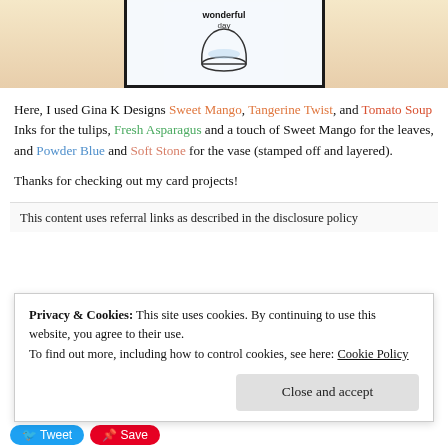[Figure (photo): Partial view of a stamped card displaying 'wonderful day' text with a vase illustration, shown on a wooden surface.]
Here, I used Gina K Designs Sweet Mango, Tangerine Twist, and Tomato Soup Inks for the tulips, Fresh Asparagus and a touch of Sweet Mango for the leaves, and Powder Blue and Soft Stone for the vase (stamped off and layered).
Thanks for checking out my card projects!
This content uses referral links as described in the disclosure policy
Privacy & Cookies: This site uses cookies. By continuing to use this website, you agree to their use.
To find out more, including how to control cookies, see here: Cookie Policy
Close and accept